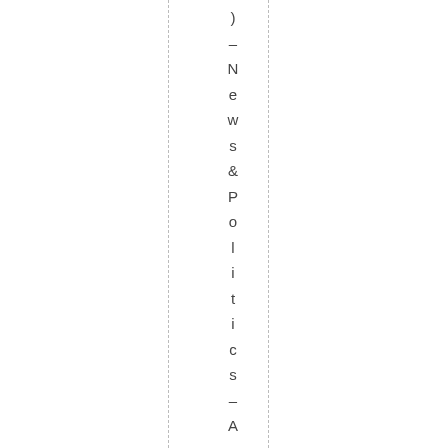) – News & Politics – Australia – i a